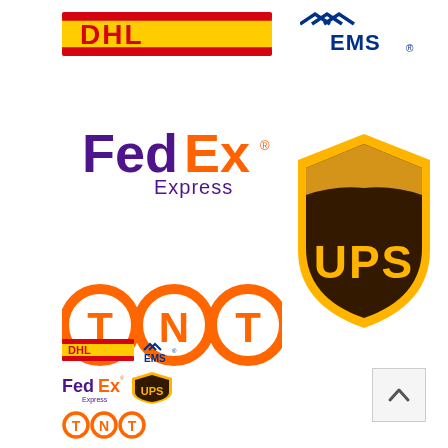[Figure (logo): DHL express courier logo - red and yellow with DHL text]
[Figure (logo): EMS courier logo - blue and red with wing motif]
[Figure (logo): FedEx Express logo - purple and orange text]
[Figure (logo): UPS shield logo - brown and gold with UPS text]
[Figure (logo): TNT courier logo - orange circles with T N T letters]
[Figure (illustration): Small thumbnail grid of all 5 courier logos: DHL, EMS, FedEx, UPS, TNT]